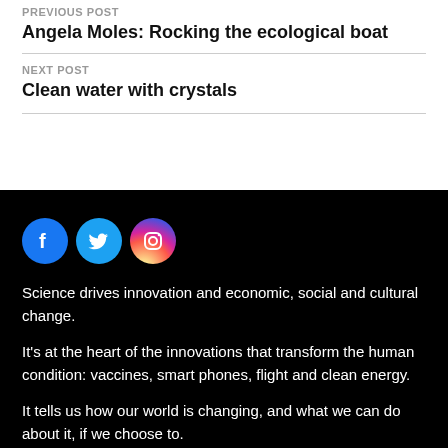PREVIOUS POST
Angela Moles: Rocking the ecological boat
NEXT POST
Clean water with crystals
[Figure (illustration): Social media icons: Facebook (blue circle), Twitter (light blue circle), Instagram (gradient purple-pink circle)]
Science drives innovation and economic, social and cultural change.
It's at the heart of the innovations that transform the human condition: vaccines, smart phones, flight and clean energy.
It tells us how our world is changing, and what we can do about it, if we choose to.